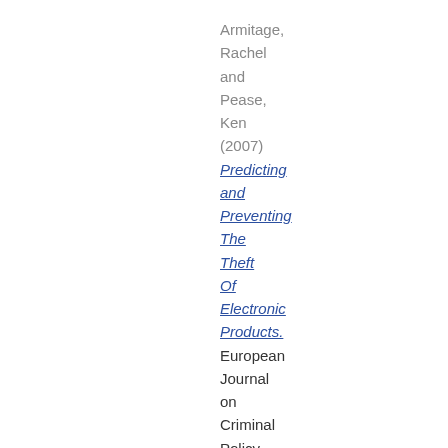Armitage, Rachel and Pease, Ken (2007) Predicting and Preventing The Theft Of Electronic Products. European Journal on Criminal Policy and